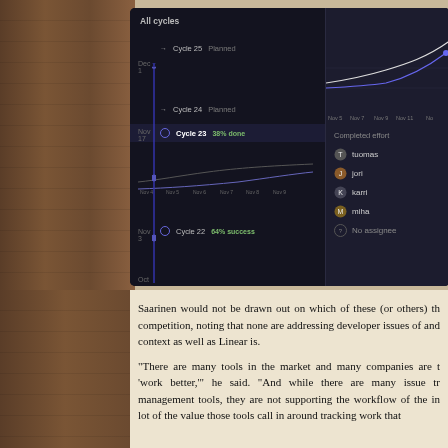[Figure (screenshot): Dark-themed project management app screenshot showing cycles list (Cycle 25 Planned, Cycle 24 Planned, Cycle 23 38% done, Cycle 22 64% success) with burndown/progress charts, date labels (Nov 4-9, Nov 5-11), and a 'Completed effort' panel listing assignees: tuomas, jori, karri, miha, No assignee.]
Saarinen would not be drawn out on which of these (or others) the competition, noting that none are addressing developer issues of s and context as well as Linear is.
"There are many tools in the market and many companies are ta 'work better,'" he said. "And while there are many issue tra management tools, they are not supporting the workflow of the indi lot of the value those tools call in around tracking work that b